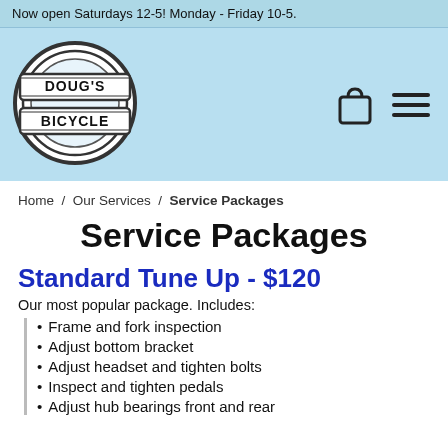Now open Saturdays 12-5! Monday - Friday 10-5.
[Figure (logo): Doug's Bicycle logo — circular badge with 'DOUG'S BICYCLE' text on ribbon banners]
Home / Our Services / Service Packages
Service Packages
Standard Tune Up - $120
Our most popular package. Includes:
Frame and fork inspection
Adjust bottom bracket
Adjust headset and tighten bolts
Inspect and tighten pedals
Adjust hub bearings front and rear